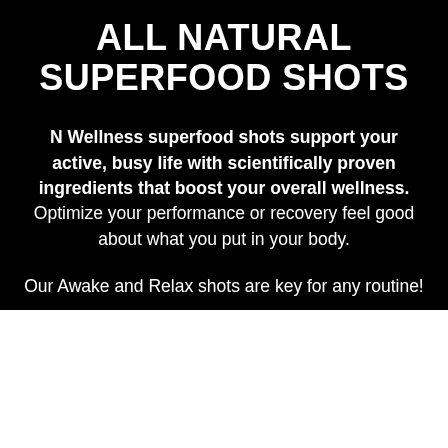ALL NATURAL SUPERFOOD SHOTS
N Wellness superfood shots support your active, busy life with scientifically proven ingredients that boost your overall wellness. Optimize your performance or recovery feel good about what you put in your body.
Our Awake and Relax shots are key for any routine!